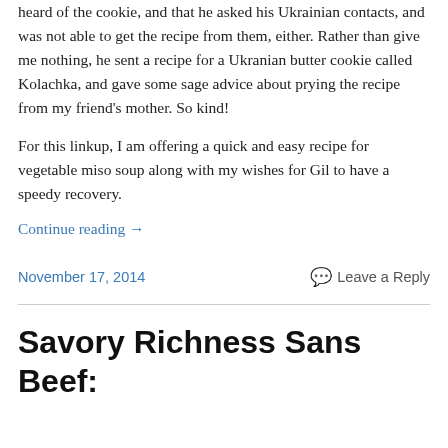heard of the cookie, and that he asked his Ukrainian contacts, and was not able to get the recipe from them, either. Rather than give me nothing, he sent a recipe for a Ukranian butter cookie called Kolachka, and gave some sage advice about prying the recipe from my friend's mother. So kind!
For this linkup, I am offering a quick and easy recipe for vegetable miso soup along with my wishes for Gil to have a speedy recovery.
Continue reading →
November 17, 2014
Leave a Reply
Savory Richness Sans Beef: